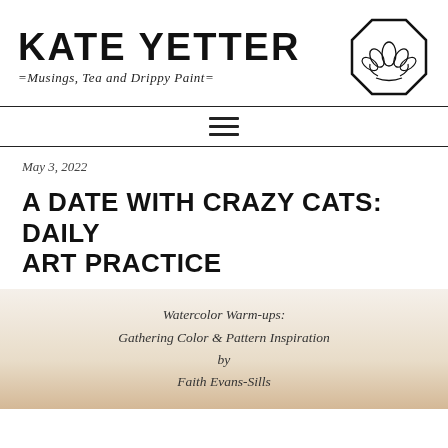KATE YETTER =Musings, Tea and Drippy Paint=
[Figure (illustration): Octagon-shaped logo with a hand-drawn lotus flower inside]
May 3, 2022
A DATE WITH CRAZY CATS: DAILY ART PRACTICE
[Figure (photo): Photo of a book page with handwritten text: Watercolor Warm-ups: Gathering Color & Pattern Inspiration by Faith Evans-Sills]